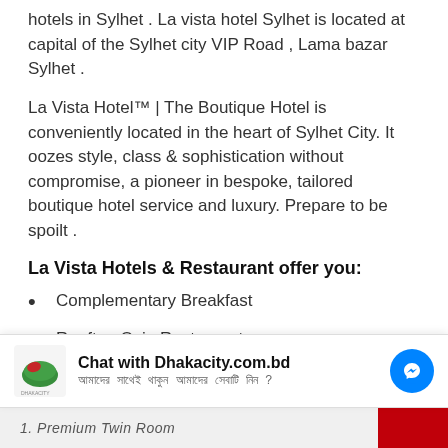hotels in Sylhet . La vista hotel Sylhet is located at capital of the Sylhet city VIP Road , Lama bazar Sylhet .
La Vista Hotel™ | The Boutique Hotel is conveniently located in the heart of Sylhet City. It oozes style, class & sophistication without compromise, a pioneer in bespoke, tailored boutique hotel service and luxury. Prepare to be spoilt .
La Vista Hotels & Restaurant offer you:
Complementary Breakfast
Rooftop Qzin Restaurant
Secure Car Parking Facility
Free Wifi
Chat with Dhakacity.com.bd
1. Premium Twin Room